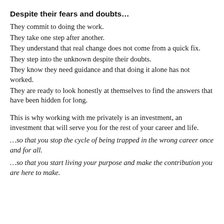Despite their fears and doubts…
They commit to doing the work.
They take one step after another.
They understand that real change does not come from a quick fix.
They step into the unknown despite their doubts.
They know they need guidance and that doing it alone has not worked.
They are ready to look honestly at themselves to find the answers that have been hidden for long.
This is why working with me privately is an investment, an investment that will serve you for the rest of your career and life.
…so that you stop the cycle of being trapped in the wrong career once and for all.
…so that you start living your purpose and make the contribution you are here to make.